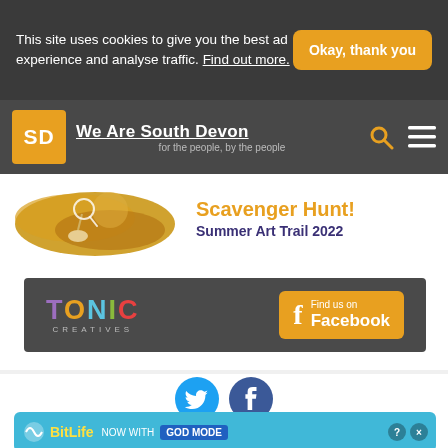This site uses cookies to give you the best ad experience and analyse traffic. Find out more.
Okay, thank you
[Figure (logo): SD logo square orange with white letters]
We Are South Devon
for the people, by the people
Scavenger Hunt! Summer Art Trail 2022
[Figure (logo): Tonic Creatives logo with Find us on Facebook button]
[Figure (logo): Twitter and Facebook social media icons]
[Figure (screenshot): BitLife Now With GOD MODE advertisement banner]